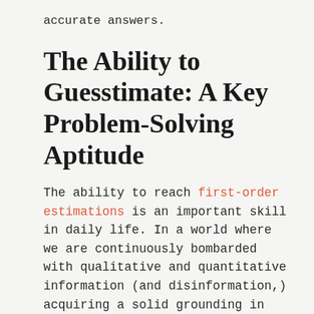accurate answers.
The Ability to Guesstimate: A Key Problem-Solving Aptitude
The ability to reach first-order estimations is an important skill in daily life. In a world where we are continuously bombarded with qualitative and quantitative information (and disinformation,) acquiring a solid grounding in numeric literacy has almost become an important intellectual obligation.